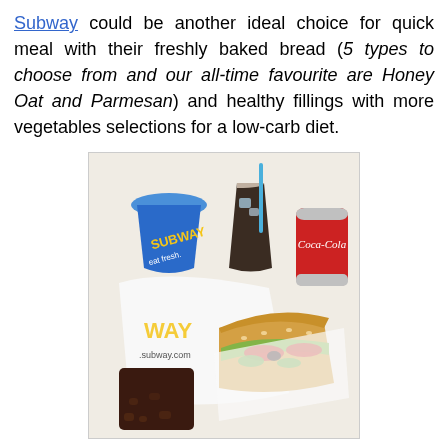Subway could be another ideal choice for quick meal with their freshly baked bread (5 types to choose from and our all-time favourite are Honey Oat and Parmesan) and healthy fillings with more vegetables selections for a low-carb diet.
[Figure (photo): A Subway meal laid out on a white tray: a submarine sandwich with vegetables (cucumber, tomato, olives) on a seeded bun wrapped in Subway paper, a Subway branded cup (blue), a glass of cola with a blue straw, a Coca-Cola can, and a square chocolate brownie.]